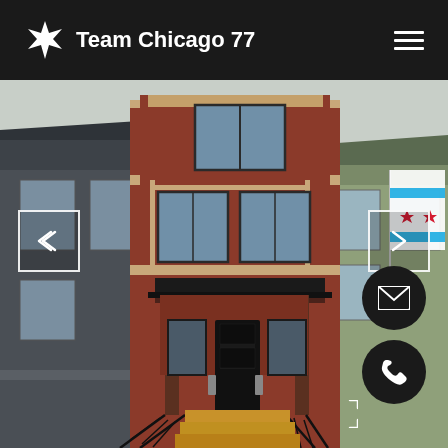Team Chicago 77
[Figure (photo): Exterior photograph of a multi-story red brick residential building with black trim, modern architectural details, a front porch with wooden steps, and neighboring houses visible on both sides. A Chicago flag is visible on the right side.]